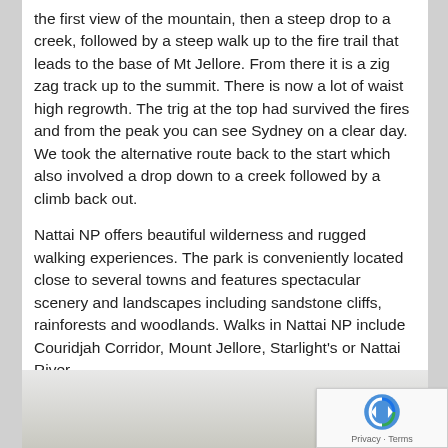the first view of the mountain, then a steep drop to a creek, followed by a steep walk up to the fire trail that leads to the base of Mt Jellore. From there it is a zig zag track up to the summit. There is now a lot of waist high regrowth. The trig at the top had survived the fires and from the peak you can see Sydney on a clear day. We took the alternative route back to the start which also involved a drop down to a creek followed by a climb back out.
Nattai NP offers beautiful wilderness and rugged walking experiences. The park is conveniently located close to several towns and features spectacular scenery and landscapes including sandstone cliffs, rainforests and woodlands. Walks in Nattai NP include Couridjah Corridor, Mount Jellore, Starlight's or Nattai River.